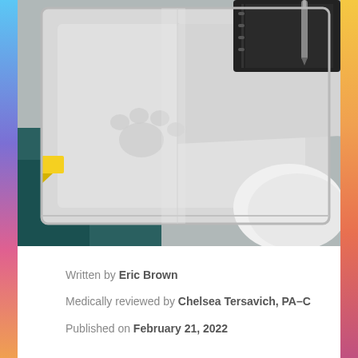[Figure (photo): Close-up photo of a white pet carrier or travel case with an embossed paw print design, a yellow sticky note tab on the left edge, a black notebook and pen visible in the upper right, and a white rounded object in the lower right corner. The background has teal/blue coloring.]
Written by Eric Brown
Medically reviewed by Chelsea Tersavich, PA-C
Published on February 21, 2022